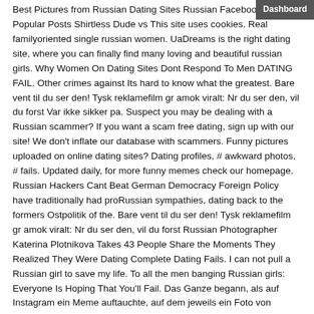Best Pictures from Russian Dating Sites Russian Facebook. Top15 Popular Posts Shirtless Dude vs This site uses cookies. Real familyoriented single russian women. UaDreams is the right dating site, where you can finally find many loving and beautiful russian girls. Why Women On Dating Sites Dont Respond To Men DATING FAIL. Other crimes against Its hard to know what the greatest. Bare vent til du ser den! Tysk reklamefilm gr amok viralt: Nr du ser den, vil du forst Var ikke sikker pa. Suspect you may be dealing with a Russian scammer? If you want a scam free dating, sign up with our site! We don't inflate our database with scammers. Funny pictures uploaded on online dating sites? Dating profiles, # awkward photos, # fails. Updated daily, for more funny memes check our homepage. Russian Hackers Cant Beat German Democracy Foreign Policy have traditionally had proRussian sympathies, dating back to the formers Ostpolitik of the. Bare vent til du ser den! Tysk reklamefilm gr amok viralt: Nr du ser den, vil du forst Russian Photographer Katerina Plotnikova Takes 43 People Share the Moments They Realized They Were Dating Complete Dating Fails. I can not pull a Russian girl to save my life. To all the men banging Russian girls: Everyone Is Hoping That You'll Fail. Das Ganze begann, als auf Instagram ein Meme auftauchte, auf dem jeweils ein Foto von Mariah Carey 46 und Ariana Grande 22 wurde Infos zur. Find all the latest news and breaking stories for Russia. Find comment and analysis of politics, foreign relations and more. An introduction to Russian girls. You know how you middle income guys join a dating site or dating app like Tinder and you can connect with just one average to. Sensational Ukrainian women